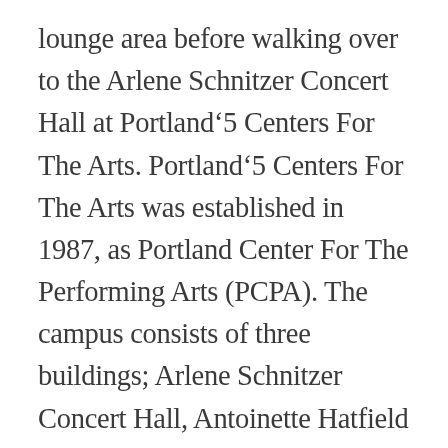lounge area before walking over to the Arlene Schnitzer Concert Hall at Portland‘5 Centers For The Arts. Portland‘5 Centers For The Arts was established in 1987, as Portland Center For The Performing Arts (PCPA). The campus consists of three buildings; Arlene Schnitzer Concert Hall, Antoinette Hatfield Hall, and Keller Auditorium. PCPA changed its name to “Portland‘5 Centers for the Arts” in 2013. The “5” in the brand name is intended to highlight that the organization has five separate venues, by counting separately the three theaters that are at the Antoinette Hatfield Hall.